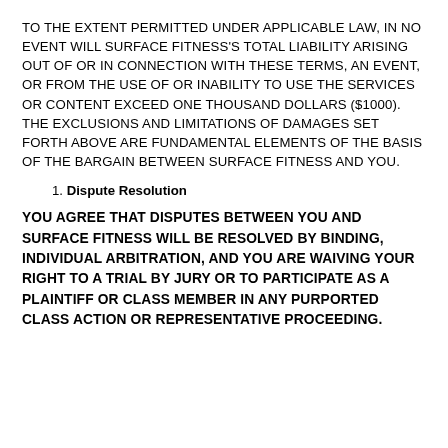TO THE EXTENT PERMITTED UNDER APPLICABLE LAW, IN NO EVENT WILL SURFACE FITNESS'S TOTAL LIABILITY ARISING OUT OF OR IN CONNECTION WITH THESE TERMS, AN EVENT, OR FROM THE USE OF OR INABILITY TO USE THE SERVICES OR CONTENT EXCEED ONE THOUSAND DOLLARS ($1000). THE EXCLUSIONS AND LIMITATIONS OF DAMAGES SET FORTH ABOVE ARE FUNDAMENTAL ELEMENTS OF THE BASIS OF THE BARGAIN BETWEEN SURFACE FITNESS AND YOU.
1. Dispute Resolution
YOU AGREE THAT DISPUTES BETWEEN YOU AND SURFACE FITNESS WILL BE RESOLVED BY BINDING, INDIVIDUAL ARBITRATION, AND YOU ARE WAIVING YOUR RIGHT TO A TRIAL BY JURY OR TO PARTICIPATE AS A PLAINTIFF OR CLASS MEMBER IN ANY PURPORTED CLASS ACTION OR REPRESENTATIVE PROCEEDING.